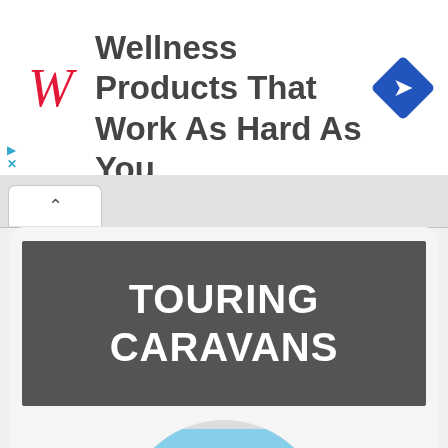[Figure (screenshot): Advertisement banner for Walgreens: logo (stylized W in red italic), text 'Wellness Products That Work As Hard As You', blue diamond navigation icon top right, play and close icons bottom left]
[Figure (screenshot): Browser chrome with white tab showing a caret/up-arrow symbol]
TOURING CARAVANS
[Figure (photo): Circular cropped photo of a touring caravan/mobile home with dark awning, blue sky background, red stripe, and green plant in foreground]